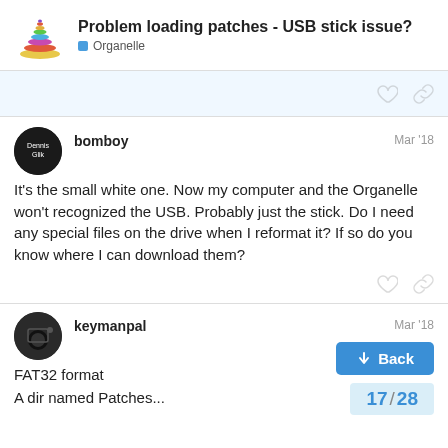Problem loading patches - USB stick issue? — Organelle
It's the small white one. Now my computer and the Organelle won't recognized the USB. Probably just the stick. Do I need any special files on the drive when I reformat it? If so do you know where I can download them?
bomboy — Mar '18
keymanpal — Mar '18
FAT32 format
A dir named Patches...